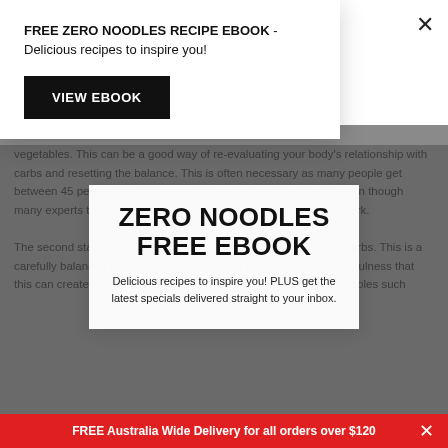FREE ZERO NOODLES RECIPE EBOOK - Delicious recipes to inspire you!
VIEW EBOOK
vegetables. This can be a good way of re-evaluating your body's relationship with carbs and resetting the balance. This is often necessary as many people get between 45 percent and 65 percent of their calories from carbs, even though many experts think that should be a lot closer to the ten percent mark.
ZERO NOODLES FREE EBOOK
Delicious recipes to inspire you! PLUS get the latest specials delivered straight to your inbox.
The second stage of the Atkins plan involves reintroducing some carbs. This is a carefully balanced plan in terms of the health benefits and the mindfulness that this can create. These carbs that are added are nutrient-rich vegetables such
FREE Australia Wide Delivery for all orders over $120